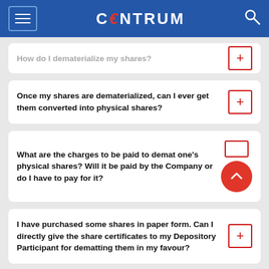CENTRUM
How do I dematerialize my shares?
Once my shares are dematerialized, can I ever get them converted into physical shares?
What are the charges to be paid to demat one's physical shares? Will it be paid by the Company or do I have to pay for it?
I have purchased some shares in paper form. Can I directly give the share certificates to my Depository Participant for dematting them in my favour?